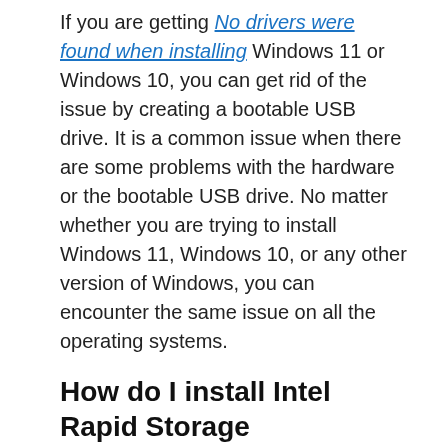If you are getting No drivers were found when installing Windows 11 or Windows 10, you can get rid of the issue by creating a bootable USB drive. It is a common issue when there are some problems with the hardware or the bootable USB drive. No matter whether you are trying to install Windows 11, Windows 10, or any other version of Windows, you can encounter the same issue on all the operating systems.
How do I install Intel Rapid Storage Technology Driver?
To install Intel Rapid Storage Technology Driver or the RST driver on Windows 11 and Windows 10, there are mainly two options. First, you can